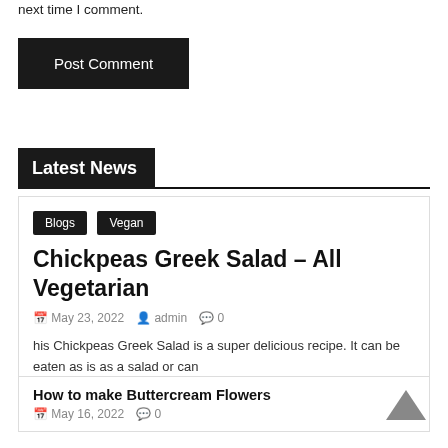next time I comment.
Post Comment
Latest News
Blogs  Vegan
Chickpeas Greek Salad – All Vegetarian
May 23, 2022  admin  0
his Chickpeas Greek Salad is a super delicious recipe. It can be eaten as is as a salad or can
How to make Buttercream Flowers
May 16, 2022  0